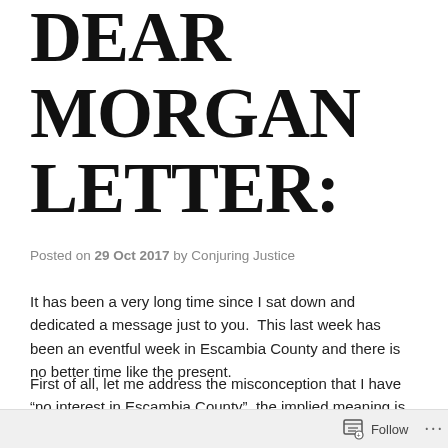DEAR MORGAN LETTER:
Posted on 29 Oct 2017 by Conjuring Justice
It has been a very long time since I sat down and dedicated a message just to you.  This last week has been an eventful week in Escambia County and there is no better time like the present.
First of all, let me address the misconception that I have “no interest in Escambia County”, the implied meaning is that I need to get my nose out of your
Follow